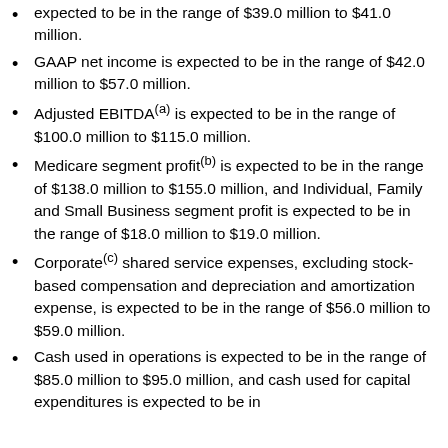expected to be in the range of $39.0 million to $41.0 million.
GAAP net income is expected to be in the range of $42.0 million to $57.0 million.
Adjusted EBITDA(a) is expected to be in the range of $100.0 million to $115.0 million.
Medicare segment profit(b) is expected to be in the range of $138.0 million to $155.0 million, and Individual, Family and Small Business segment profit is expected to be in the range of $18.0 million to $19.0 million.
Corporate(c) shared service expenses, excluding stock-based compensation and depreciation and amortization expense, is expected to be in the range of $56.0 million to $59.0 million.
Cash used in operations is expected to be in the range of $85.0 million to $95.0 million, and cash used for capital expenditures is expected to be in